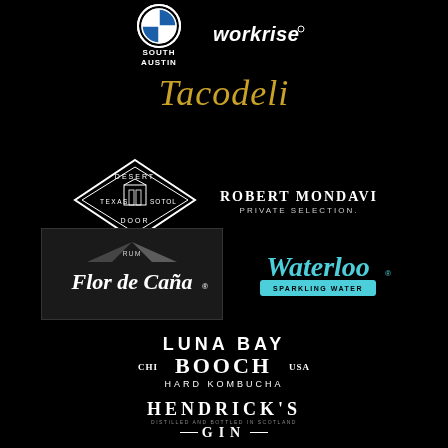[Figure (logo): BMW South Austin circular logo with blue and white quadrants]
[Figure (logo): Workrise wordmark logo in white italic text]
[Figure (logo): Tacodeli logo in gold/yellow italic serif font]
[Figure (logo): Desert Door Texas Sotol diamond-shaped badge logo in white outline]
[Figure (logo): Robert Mondavi Private Selection text logo in white]
[Figure (logo): Flor de Cana Rum script logo on dark background]
[Figure (logo): Waterloo Sparkling Water logo in cyan/teal script]
[Figure (logo): Luna Bay Booch Hard Kombucha logo in white text]
[Figure (logo): Hendrick's Gin distilled and bottled in Scotland logo in white]